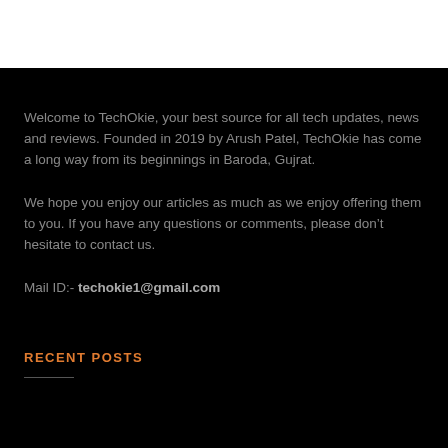Welcome to TechOkie, your best source for all tech updates, news and reviews. Founded in 2019 by Arush Patel, TechOkie has come a long way from its beginnings in Baroda, Gujrat.
We hope you enjoy our articles as much as we enjoy offering them to you. If you have any questions or comments, please don’t hesitate to contact us.
Mail ID:- techokie1@gmail.com
RECENT POSTS